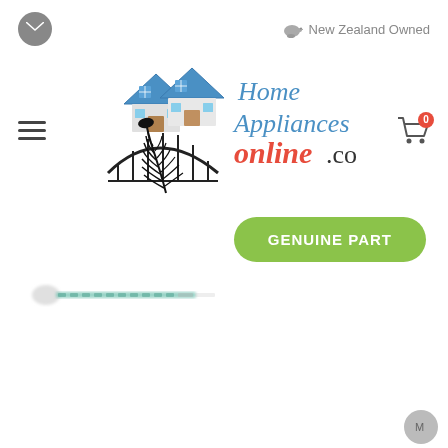[Figure (logo): Email icon - grey circle with envelope]
New Zealand Owned
[Figure (logo): Home Appliances Online co.nz logo with house and silver fern illustration]
[Figure (logo): Shopping cart icon with red badge showing 0]
GENUINE PART
[Figure (photo): Product image - small white and teal screw or part, blurred]